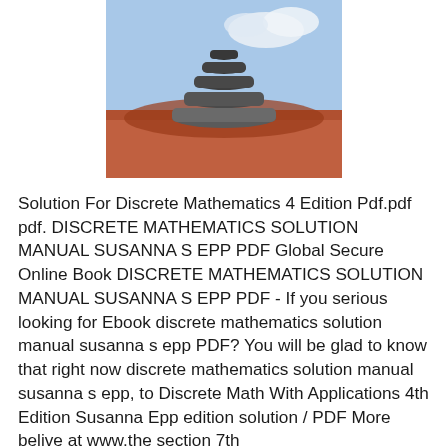[Figure (photo): Stacked balanced stones / zen pebble tower on a rock surface with a blue sky background]
Solution For Discrete Mathematics 4 Edition Pdf.pdf pdf. DISCRETE MATHEMATICS SOLUTION MANUAL SUSANNA S EPP PDF Global Secure Online Book DISCRETE MATHEMATICS SOLUTION MANUAL SUSANNA S EPP PDF - If you serious looking for Ebook discrete mathematics solution manual susanna s epp PDF? You will be glad to know that right now discrete mathematics solution manual susanna s epp, to Discrete Math With Applications 4th Edition Susanna Epp edition solution / PDF More belive at www.the section 7th...